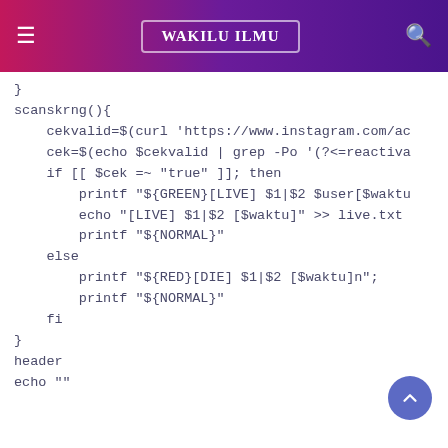WAKILU ILMU
}
scanskrng(){
    cekvalid=$(curl 'https://www.instagram.com/ac
    cek=$(echo $cekvalid | grep -Po '(?<=reactiva
    if [[ $cek =~ "true" ]]; then
        printf "${GREEN}[LIVE] $1|$2 $user[$waktu
        echo "[LIVE] $1|$2 [$waktu]" >> live.txt
        printf "${NORMAL}"
    else
        printf "${RED}[DIE] $1|$2 [$waktu]n";
        printf "${NORMAL}"
    fi
}
header
echo ""